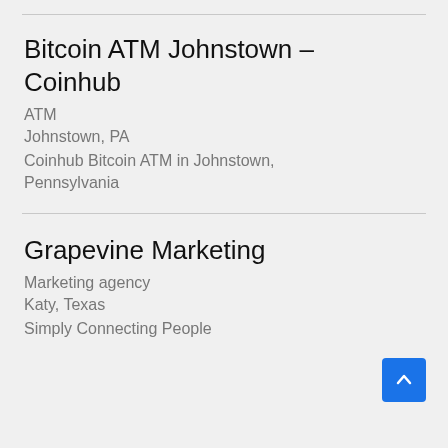Bitcoin ATM Johnstown – Coinhub
ATM
Johnstown, PA
Coinhub Bitcoin ATM in Johnstown, Pennsylvania
Grapevine Marketing
Marketing agency
Katy, Texas
Simply Connecting People